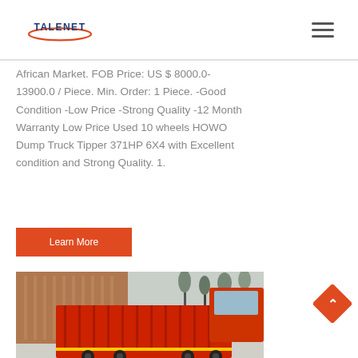TALENET
African Market. FOB Price: US $ 8000.0-13900.0 / Piece. Min. Order: 1 Piece. -Good Condition -Low Price -Strong Quality -12 Month Warranty Low Price Used 10 wheels HOWO Dump Truck Tipper 371HP 6X4 with Excellent condition and Strong Quality. 1.
Learn More
[Figure (photo): Red HOWO dump truck tipper viewed from rear-side angle, parked near a building with trees in the background.]